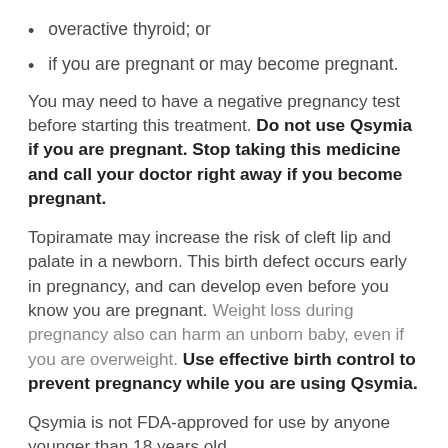overactive thyroid; or
if you are pregnant or may become pregnant.
You may need to have a negative pregnancy test before starting this treatment. Do not use Qsymia if you are pregnant. Stop taking this medicine and call your doctor right away if you become pregnant.
Topiramate may increase the risk of cleft lip and palate in a newborn. This birth defect occurs early in pregnancy, and can develop even before you know you are pregnant. Weight loss during pregnancy also can harm an unborn baby, even if you are overweight. Use effective birth control to prevent pregnancy while you are using Qsymia.
Qsymia is not FDA-approved for use by anyone younger than 18 years old.